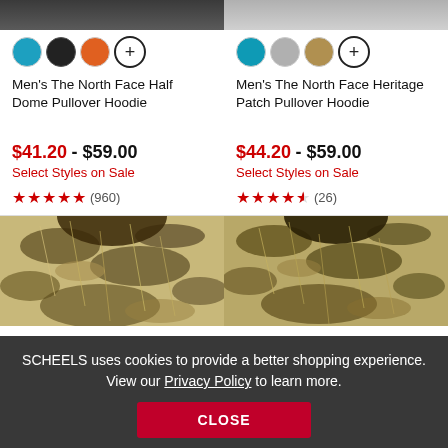[Figure (photo): Partial top of two men's hoodies, left in dark color, right in gray]
Men's The North Face Half Dome Pullover Hoodie
$41.20 - $59.00
Select Styles on Sale
★★★★★ (960)
Men's The North Face Heritage Patch Pullover Hoodie
$44.20 - $59.00
Select Styles on Sale
★★★★½ (26)
[Figure (photo): Two camo patterned pullover hoodies partially visible at bottom of page]
SCHEELS uses cookies to provide a better shopping experience. View our Privacy Policy to learn more.
CLOSE